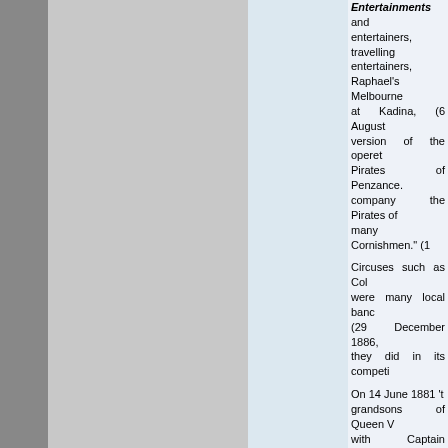Entertainments and entertainers, travelling entertainers, Raphael's Melbourne at Kadina, (6 August version of the opereta Pirates of Penzance. company the Pirates of many Cornishmen." (1
Circuses such as Col were many local bands (29 December 1886, they did in its competi
On 14 June 1881 't grandsons of Queen V with Captain Hancock of the Second World Wallaroo. (22 March the eve of a Federal e Canadian herbalist' vi (14 July 1897, p. 4)
Technological adva
Moonta Mining Comp 1878, p. 2) In 1883 'p a rather questionable
In 1891 the 'wonderfu Town Hall, and perfor family singers were re
Possibly one of the ea Kadina and Wallaroo Reeve, brought his 'O "35 magnificent pictu royal pageants, comic Pictures began tourin films. A year later the Lyceum pictures. 'Tall Russack's electrical sh
The horse began to advertised that his bic